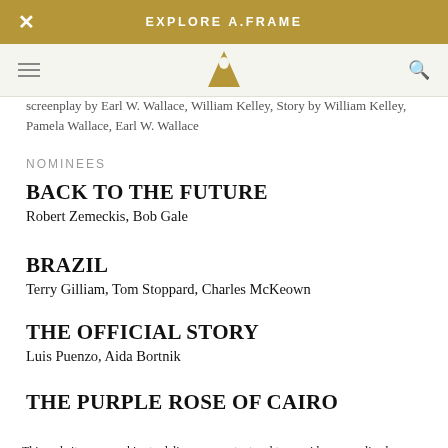EXPLORE A.FRAME
screenplay by Earl W. Wallace, William Kelley, Story by William Kelley, Pamela Wallace, Earl W. Wallace
NOMINEES
BACK TO THE FUTURE
Robert Zemeckis, Bob Gale
BRAZIL
Terry Gilliam, Tom Stoppard, Charles McKeown
THE OFFICIAL STORY
Luis Puenzo, Aida Bortnik
THE PURPLE ROSE OF CAIRO
This website uses cookies to deliver our content and to provide personalized features. Instructions for disabling cookies are in our Privacy Policy. By clicking I Accept, you consent to our use of cookies.